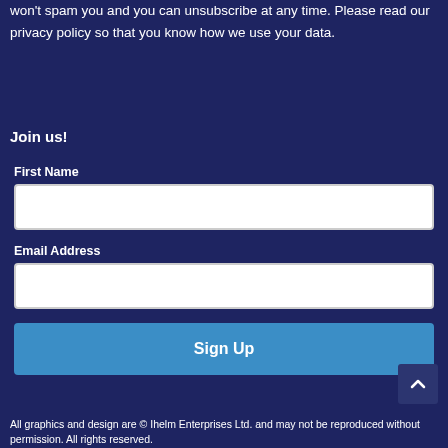won't spam you and you can unsubscribe at any time. Please read our privacy policy so that you know how we use your data.
Join us!
First Name
Email Address
Sign Up
All graphics and design are © Ihelm Enterprises Ltd. and may not be reproduced without permission. All rights reserved.